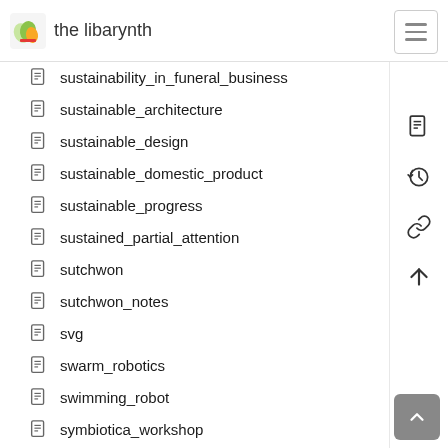the libarynth
sustainability_in_funeral_business
sustainable_architecture
sustainable_design
sustainable_domestic_product
sustainable_progress
sustained_partial_attention
sutchwon
sutchwon_notes
svg
swarm_robotics
swimming_robot
symbiotica_workshop
symbol_information
symmetry_sync
synaesthesia
synchronicity
synsepalum_dulcificum
synthetic_biology